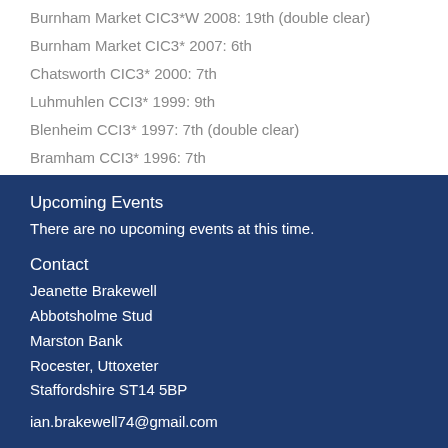Burnham Market CIC3*W 2008: 19th (double clear)
Burnham Market CIC3* 2007: 6th
Chatsworth CIC3* 2000: 7th
Luhmuhlen CCI3* 1999: 9th
Blenheim CCI3* 1997: 7th (double clear)
Bramham CCI3* 1996: 7th
Upcoming Events
There are no upcoming events at this time.
Contact
Jeanette Brakewell
Abbotsholme Stud
Marston Bank
Rocester, Uttoxeter
Staffordshire ST14 5BP
ian.brakewell74@gmail.com